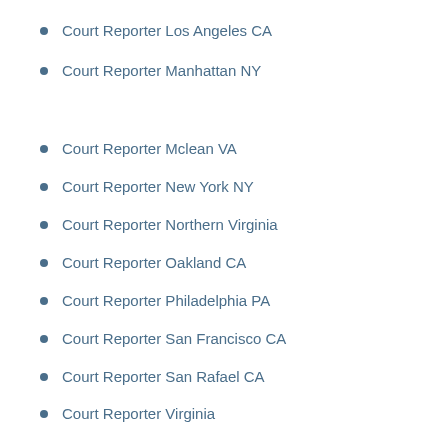Court Reporter Los Angeles CA
Court Reporter Manhattan NY
Court Reporter Mclean VA
Court Reporter New York NY
Court Reporter Northern Virginia
Court Reporter Oakland CA
Court Reporter Philadelphia PA
Court Reporter San Francisco CA
Court Reporter San Rafael CA
Court Reporter Virginia
Court Reporting Washington D.C.